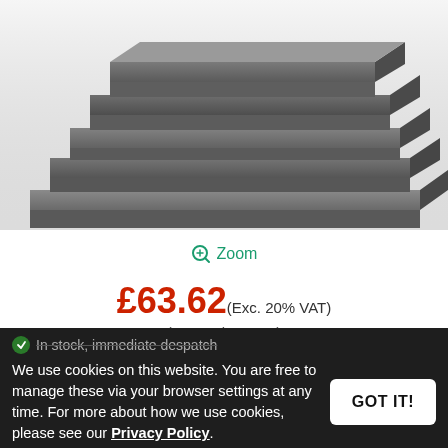[Figure (photo): Stack of grey foam sheets arranged in a staggered stepped formation, photographed on white background]
Zoom
£63.62 (Exc. 20% VAT)
(£76.34 inc. VAT)
In stock, immediate despatch
We use cookies on this website. You are free to manage these via your browser settings at any time. For more about how we use cookies, please see our Privacy Policy.